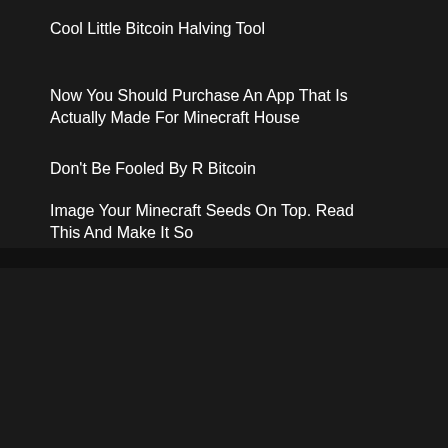Cool Little Bitcoin Halving Tool
Now You Should Purchase An App That Is Actually Made For Minecraft House
Don't Be Fooled By R Bitcoin
Image Your Minecraft Seeds On Top. Read This And Make It So
Recent Comments